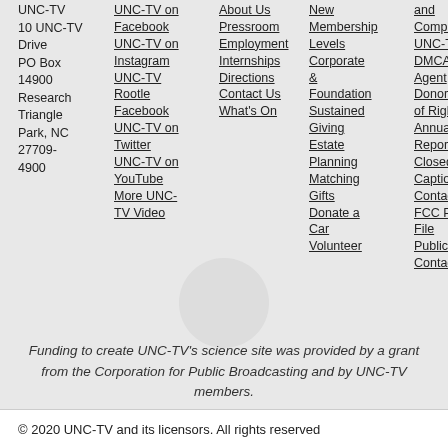UNC-TV
10 UNC-TV Drive
PO Box 14900
Research Triangle Park, NC 27709-4900
UNC-TV on Facebook
UNC-TV on Instagram
UNC-TV Rootle Facebook
UNC-TV on Twitter
UNC-TV on YouTube
More UNC-TV Video
About Us
Pressroom
Employment
Internships
Directions
Contact Us
What's On
New Membership Levels
Corporate & Foundation
Sustained Giving
Estate Planning
Matching Gifts
Donate a Car
Volunteer
Compliance
UNC-TV DMCA Agent
Donor Bill of Rights
Annual EEO Report
Closed Captioning Contact
FCC Public File
Public File Contact
Funding to create UNC-TV's science site was provided by a grant from the Corporation for Public Broadcasting and by UNC-TV members.
© 2020 UNC-TV and its licensors. All rights reserved